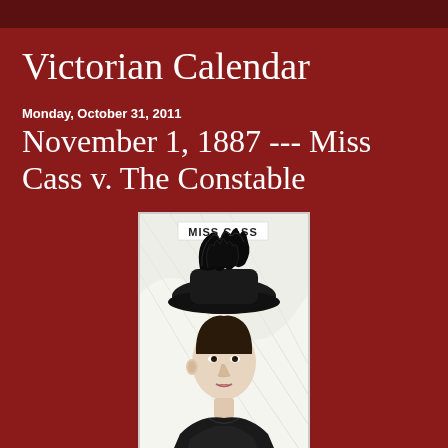Victorian Calendar
Monday, October 31, 2011
November 1, 1887 --- Miss Cass v. The Constable
[Figure (illustration): A Victorian-era black and white engraving portrait of Miss Cass, a woman wearing a large decorative hat with feathers. The text 'MISS CASS' appears at the top of the image.]